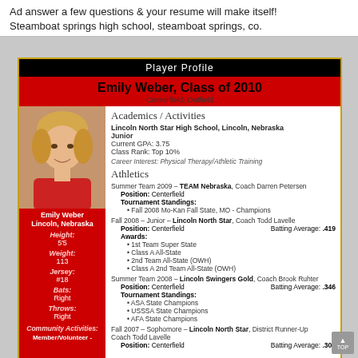Ad answer a few questions & your resume will make itself!
Steamboat springs high school, steamboat springs, co.
[Figure (infographic): Player Profile card for Emily Weber, Class of 2010, Centerfield/Outfield. Contains photo, sidebar with stats (Height: 5'5, Weight: 113, Jersey: #18, Bats: Right, Throws: Right, Community Activities, Member/Volunteer), and main content with Academics/Activities and Athletics sections.]
Player Profile
Emily Weber, Class of 2010
Centerfield, Outfield
Academics / Activities
Lincoln North Star High School, Lincoln, Nebraska
Junior
Current GPA: 3.75
Class Rank: Top 10%
Career Interest: Physical Therapy/Athletic Training
Athletics
Summer Team 2009 – TEAM Nebraska, Coach Darren Petersen
Position: Centerfield
Tournament Standings:
• Fall 2008 Mo-Kan Fall State, MO - Champions
Fall 2008 – Junior – Lincoln North Star, Coach Todd Lavelle
Position: Centerfield    Batting Average: .419
Awards:
• 1st Team Super State
• Class A All-State
• 2nd Team All-State (OWH)
• Class A 2nd Team All-State (OWH)
Summer Team 2008 – Lincoln Swingers Gold, Coach Brook Ruhter
Position: Centerfield    Batting Average: .346
Tournament Standings:
• ASA State Champions
• USSSA State Champions
• AFA State Champions
Fall 2007 – Sophomore – Lincoln North Star, District Runner-Up
Coach Todd Lavelle
Position: Centerfield    Batting Average: .300